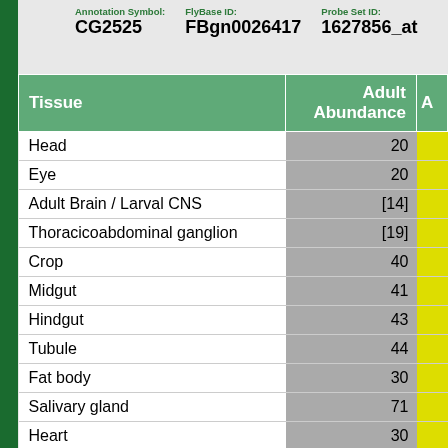Annotation Symbol: CG2525   FlyBase ID: FBgn0026417   Probe Set ID: 1627856_at
| Tissue | Adult Abundance | A |
| --- | --- | --- |
| Head | 20 |  |
| Eye | 20 |  |
| Adult Brain / Larval CNS | [14] |  |
| Thoracicoabdominal ganglion | [19] |  |
| Crop | 40 |  |
| Midgut | 41 |  |
| Hindgut | 43 |  |
| Tubule | 44 |  |
| Fat body | 30 |  |
| Salivary gland | 71 |  |
| Heart | 30 |  |
| Trachea |  |  |
| Ovary | 68 |  |
| Virgin Spermatheca | 30 |  |
| Mated Spermatheca | 29 |  |